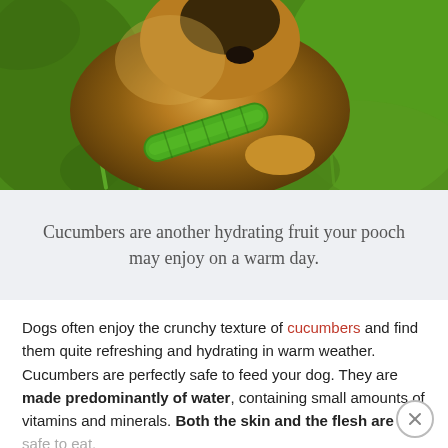[Figure (photo): A German Shepherd dog lying on green grass, sniffing or eating a cucumber, photographed from above at close range.]
Cucumbers are another hydrating fruit your pooch may enjoy on a warm day.
Dogs often enjoy the crunchy texture of cucumbers and find them quite refreshing and hydrating in warm weather. Cucumbers are perfectly safe to feed your dog. They are made predominantly of water, containing small amounts of vitamins and minerals. Both the skin and the flesh are safe to eat.